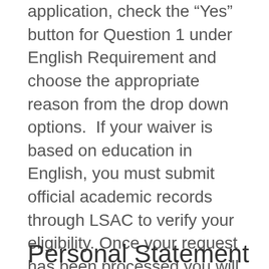application, check the "Yes" button for Question 1 under English Requirement and choose the appropriate reason from the drop down options.  If your waiver is based on education in English, you must submit official academic records through LSAC to verify your eligibility. Once your request has been processed you will receive an e-mail notifying you whether your TOEFL waiver request has been granted.  Please do not contact the Advanced Degree Programs Office in advance of applying if you meet the criteria above; requesting the waiver through the application will suffice.
Personal Statement